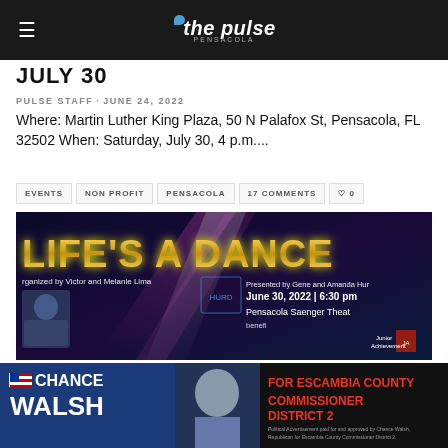the pulse pensacola
JULY 30
PULSE STAFF · JUNE 24, 2022
Where: Martin Luther King Plaza, 50 N Palafox St, Pensacola, FL 32502 When: Saturday, July 30, 4 p.m....
EVENTS
NON PROFIT
PENSACOLA
17 COMMENTS
♡ 0
[Figure (photo): Life's A Dance event promotional image. Text reads: LIFE'S A DANCE. Organized by Victor and Melanie Lima. Presented by Gene and Amanda Hur. June 30, 2022 | 6:30 pm. Pensacola Saenger Theatre. Benefit for Junior Achievement. HURD logo visible.]
[Figure (photo): Political advertisement banner for Chance Walsh for Escambia County Commissioner District 2. Blue background with text: CHANCE WALSH FOR ESCAMBIA COUNTY COMMISSIONER DISTRICT 2. Photo of candidate. Political Advertisement paid for and approved by Chance Walsh, Republican for Escambia County Commissioner District 2.]